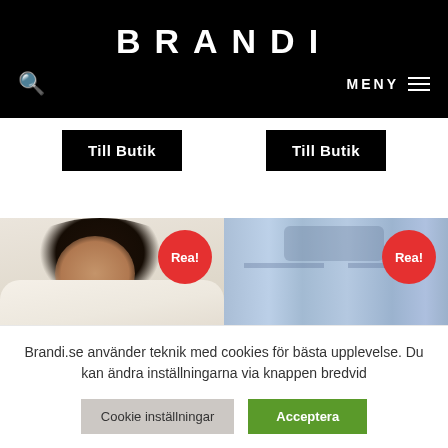BRANDI
MENY
[Figure (illustration): Two product images side by side: left shows a woman with curly hair wearing a cream/beige knit sweater with a red 'Rea!' sale badge; right shows the back of blue jeans with a red 'Rea!' sale badge]
Till Butik
Till Butik
Brandi.se använder teknik med cookies för bästa upplevelse. Du kan ändra inställningarna via knappen bredvid
Cookie inställningar
Acceptera